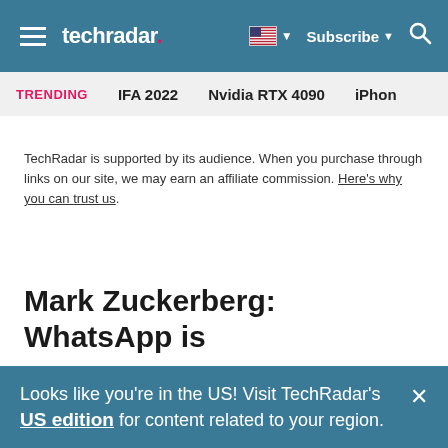techradar | Subscribe | Search
TRENDING   IFA 2022   Nvidia RTX 4090   iPhon
TechRadar is supported by its audience. When you purchase through links on our site, we may earn an affiliate commission. Here's why you can trust us.
Mark Zuckerberg: WhatsApp is
Looks like you're in the US! Visit TechRadar's US edition for content related to your region.